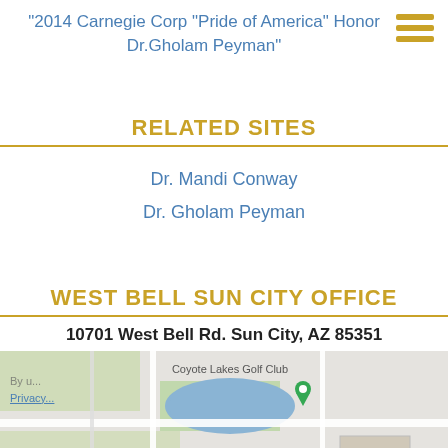"2014 Carnegie Corp "Pride of America" Honor Dr.Gholam Peyman"
RELATED SITES
Dr. Mandi Conway
Dr. Gholam Peyman
WEST BELL SUN CITY OFFICE
10701 West Bell Rd. Sun City, AZ 85351
[Figure (map): Google Maps embed showing area around West Bell Rd, Sun City, AZ 85351. Shows Coyote Lakes Golf Club, Costco Wholesale, Food City Supermarket, and route 60.]